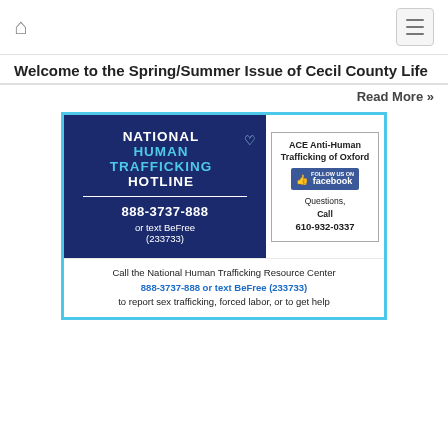Home | Menu
Welcome to the Spring/Summer Issue of Cecil County Life
Read More »
[Figure (infographic): National Human Trafficking Hotline advertisement. Dark blue left panel with white and cyan text: NATIONAL HUMAN TRAFFICKING HOTLINE, 888-3737-888, or text BeFree (233733). Right panel with ACE Anti-Human Trafficking of Oxford, Follow us on Facebook button, Questions Call 610-932-0337. Bottom text: Call the National Human Trafficking Resource Center 888-3737-888 or text BeFree (233733) to report sex trafficking, forced labor, or to get help.]